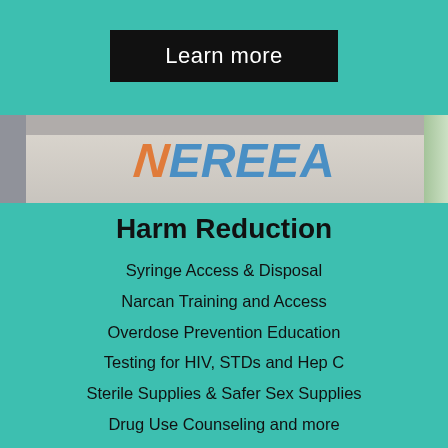[Figure (other): Black button/banner with white text reading 'Learn more' on a teal background]
[Figure (photo): Indoor photo showing a wall with colorful letters spelling FREE in orange and blue, with ceiling and windows visible]
Harm Reduction
Syringe Access & Disposal
Narcan Training and Access
Overdose Prevention Education
Testing for HIV, STDs and Hep C
Sterile Supplies & Safer Sex Supplies
Drug Use Counseling and more